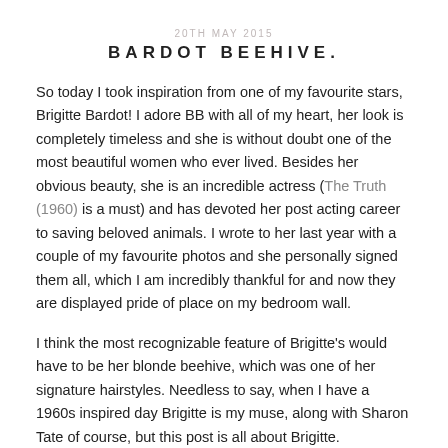20TH MAY 2015
BARDOT BEEHIVE.
So today I took inspiration from one of my favourite stars, Brigitte Bardot! I adore BB with all of my heart, her look is completely timeless and she is without doubt one of the most beautiful women who ever lived. Besides her obvious beauty, she is an incredible actress (The Truth (1960) is a must) and has devoted her post acting career to saving beloved animals. I wrote to her last year with a couple of my favourite photos and she personally signed them all, which I am incredibly thankful for and now they are displayed pride of place on my bedroom wall.
I think the most recognizable feature of Brigitte's would have to be her blonde beehive, which was one of her signature hairstyles. Needless to say, when I have a 1960s inspired day Brigitte is my muse, along with Sharon Tate of course, but this post is all about Brigitte.